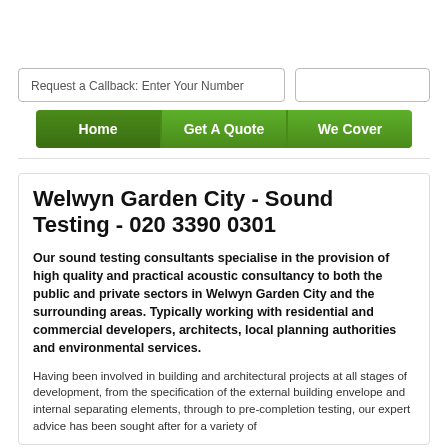[Figure (screenshot): Top white space area where a logo or header image would appear]
Request a Callback: Enter Your Number
Welwyn Garden City - Sound Testing - 020 3390 0301
Our sound testing consultants specialise in the provision of high quality and practical acoustic consultancy to both the public and private sectors in Welwyn Garden City and the surrounding areas. Typically working with residential and commercial developers, architects, local planning authorities and environmental services.
Having been involved in building and architectural projects at all stages of development, from the specification of the external building envelope and internal separating elements, through to pre-completion testing, our expert advice has been sought after for a variety of